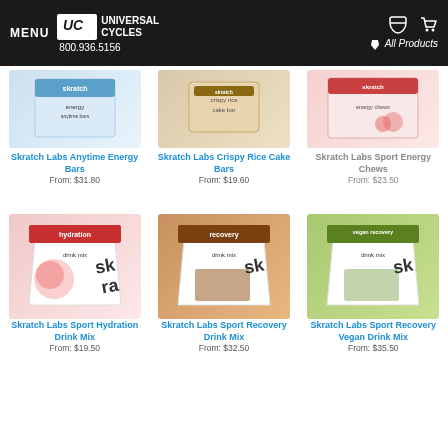MENU | UC Universal Cycles | 800.936.5156 | All Products
[Figure (photo): Skratch Labs Anytime Energy Bars product box]
Skratch Labs Anytime Energy Bars
From: $31.80
[Figure (photo): Skratch Labs Crispy Rice Cake Bars product]
Skratch Labs Crispy Rice Cake Bars
From: $19.60
[Figure (photo): Skratch Labs Sport Energy Chews product box]
Skratch Labs Sport Energy Chews
From: $23.50
[Figure (photo): Skratch Labs Sport Hydration Drink Mix bag, red]
Skratch Labs Sport Hydration Drink Mix
From: $19.50
[Figure (photo): Skratch Labs Sport Recovery Drink Mix bag, brown]
Skratch Labs Sport Recovery Drink Mix
From: $32.50
[Figure (photo): Skratch Labs Sport Recovery Vegan Drink Mix bag, green]
Skratch Labs Sport Recovery Vegan Drink Mix
From: $35.50